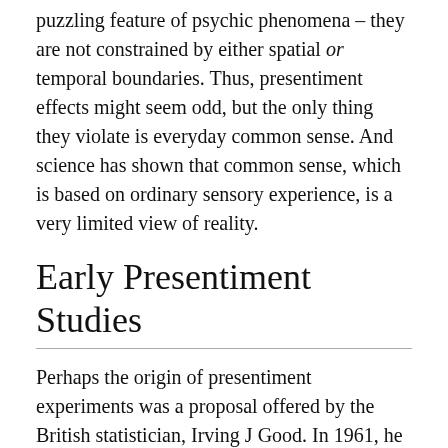puzzling feature of psychic phenomena – they are not constrained by either spatial or temporal boundaries. Thus, presentiment effects might seem odd, but the only thing they violate is everyday common sense. And science has shown that common sense, which is based on ordinary sensory experience, is a very limited view of reality.
Early Presentiment Studies
Perhaps the origin of presentiment experiments was a proposal offered by the British statistician, Irving J Good. In 1961, he reported an idea mentioned by his brother (in 1946) in a 1961 issue of the Journal of Parapsychology. Good wrote:
A man is placed in a dark room, in which a light is flashed at random moments of time … The man's